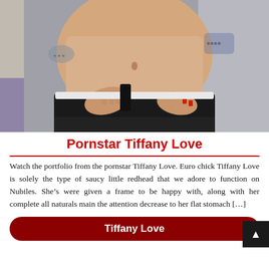[Figure (photo): Photo of a person's torso wearing black denim cutoff shorts, pulling at the waistband, with tattoos visible on both arms, against a light background.]
Pornstar Tiffany Love
Watch the portfolio from the pornstar Tiffany Love. Euro chick Tiffany Love is solely the type of saucy little redhead that we adore to function on Nubiles. She’s were given a frame to be happy with, along with her complete all naturals main the attention decrease to her flat stomach […]
Tiffany Love